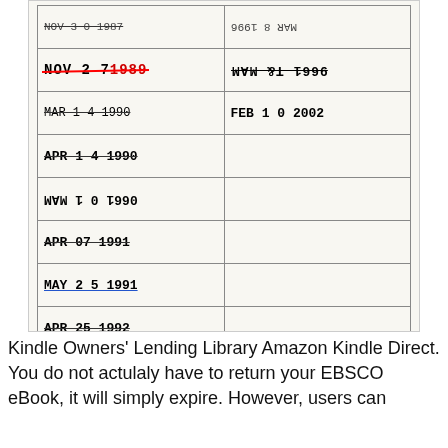[Figure (photo): A library book due-date card with stamped dates: NOV 30 1987, NOV 2 1989 (crossed out in red), MAR 1 4 1990 (struck through), APR 1 4 1990, MAR 10 1990 (upside down), APR 07 1991, MAY 2 5 1991 (underlined in blue), APR 25 1992, MAR 8 1996 (upside down), FEB 10 2002. Bottom text reads GAYLORD and PRINTED IN U.S.A.]
Kindle Owners' Lending Library Amazon Kindle Direct. You do not actulaly have to return your EBSCO eBook, it will simply expire. However, users can